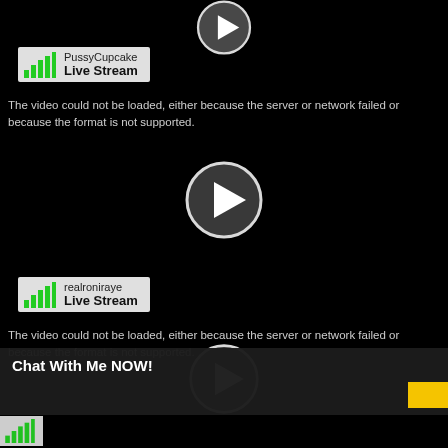[Figure (screenshot): Video player showing black screen with circular play button (top, partially visible). Stream label bar showing 'PussyCupcake Live Stream' with green signal bars icon.]
[Figure (screenshot): Video player error screen: 'The video could not be loaded, either because the server or network failed or because the format is not supported.' with circular play button. Stream label bar showing 'realroniraye Live Stream' with green signal bars icon.]
[Figure (screenshot): Video player error screen: 'The video could not be loaded, either because the server or network failed or because the format is not supported.' with circular play button partially visible. Chat overlay bar at bottom showing 'Chat With Me NOW!' with minimize button, yellow button and mute icon. Stream label bar with green signal bars icon partially visible.]
The video could not be loaded, either because the server or network failed or because the format is not supported.